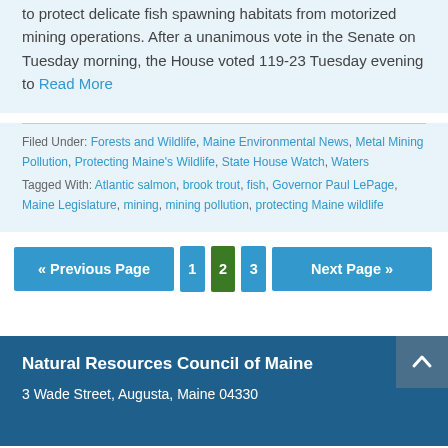to protect delicate fish spawning habitats from motorized mining operations. After a unanimous vote in the Senate on Tuesday morning, the House voted 119-23 Tuesday evening to Read More
Filed Under: Forests and Wildlife, Maine Environmental News, Metal Mining Pollution, Protecting Maine's Wildlife, State House Watch, Waters
Tagged With: Atlantic salmon, brook trout, fish, Governor Paul LePage, Maine Legislature, mining, mining pollution, protecting Maine wildlife
« Previous Page
1
2
3
Next Page »
Natural Resources Council of Maine
3 Wade Street, Augusta, Maine 04330